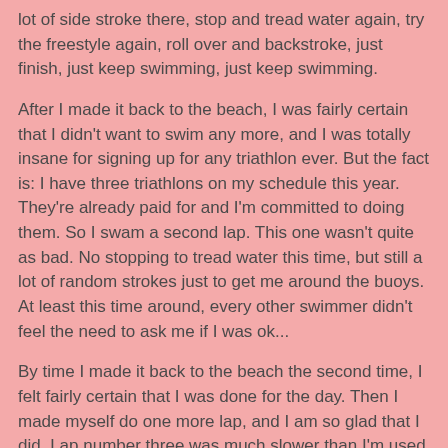lot of side stroke there, stop and tread water again, try the freestyle again, roll over and backstroke, just finish, just keep swimming, just keep swimming.
After I made it back to the beach, I was fairly certain that I didn't want to swim any more, and I was totally insane for signing up for any triathlon ever. But the fact is: I have three triathlons on my schedule this year. They're already paid for and I'm committed to doing them. So I swam a second lap. This one wasn't quite as bad. No stopping to tread water this time, but still a lot of random strokes just to get me around the buoys. At least this time around, every other swimmer didn't feel the need to ask me if I was ok...
By time I made it back to the beach the second time, I felt fairly certain that I was done for the day. Then I made myself do one more lap, and I am so glad that I did. Lap number three was much slower than I'm used to, but it was more consistent and less scary. I felt good that I was able to find a bit of a groove before I left the lake today, so that I know a little bit better what will work for me this Saturday. Slow and steady is the method I prefer, so I just need to remember that